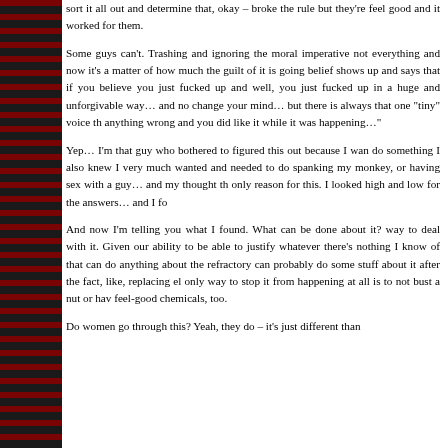sort it all out and determine that, okay – broke the rule but they're feel good and it worked for them.
Some guys can't. Trashing and ignoring the moral imperative not everything and now it's a matter of how much the guilt of it is going belief shows up and says that if you believe you just fucked up and well, you just fucked up in a huge and unforgivable way… and no change your mind… but there is always that one "tiny" voice th anything wrong and you did like it while it was happening…"
Yep… I'm that guy who bothered to figured this out because I wan do something I also knew I very much wanted and needed to do spanking my monkey, or having sex with a guy… and my thought th only reason for this. I looked high and low for the answers… and I fo
And now I'm telling you what I found. What can be done about it? way to deal with it. Given our ability to be able to justify whatever there's nothing I know of that can do anything about the refractory can probably do some stuff about it after the fact, like, replacing el only way to stop it from happening at all is to not bust a nut or hav feel-good chemicals, too.
Do women go through this? Yeah, they do – it's just different than